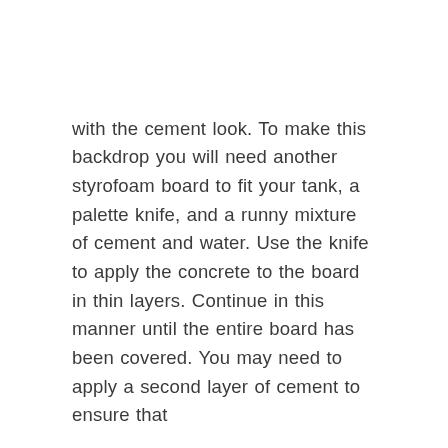with the cement look. To make this backdrop you will need another styrofoam board to fit your tank, a palette knife, and a runny mixture of cement and water. Use the knife to apply the concrete to the board in thin layers. Continue in this manner until the entire board has been covered. You may need to apply a second layer of cement to ensure that